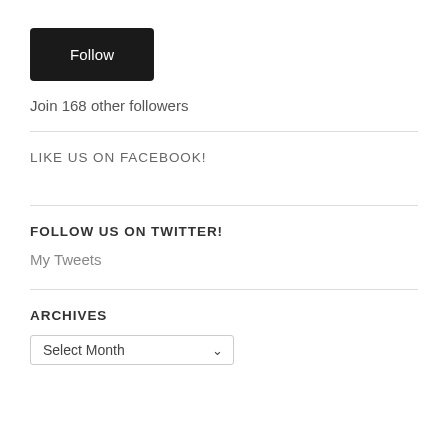[Figure (other): Black 'Follow' button]
Join 168 other followers
LIKE US ON FACEBOOK!
FOLLOW US ON TWITTER!
My Tweets
ARCHIVES
Select Month